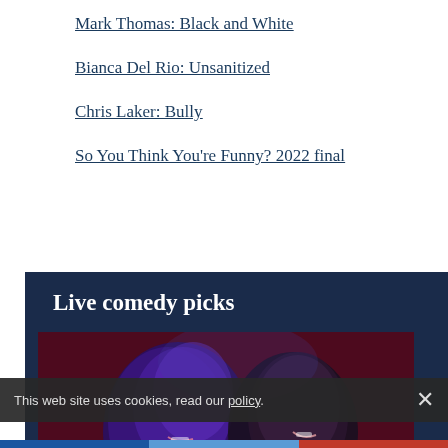Mark Thomas: Black and White
Bianca Del Rio: Unsanitized
Chris Laker: Bully
So You Think You're Funny? 2022 final
Live comedy picks
[Figure (photo): Two people laughing together under blue stage lighting against a dark red background]
This web site uses cookies, read our policy.